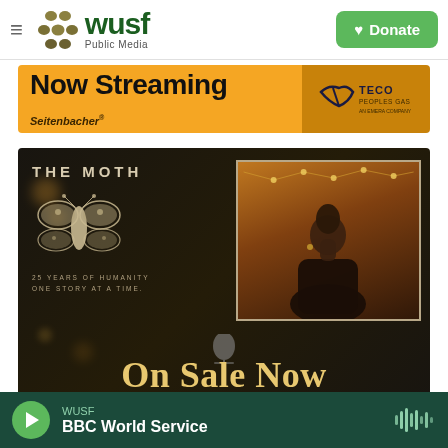[Figure (logo): WUSF Public Media logo with hamburger menu icon and Donate button]
[Figure (infographic): Banner advertisement: Now Streaming, with Seitenbacher and TECO Peoples Gas logos, orange background]
[Figure (infographic): The Moth promo: THE MOTH, 25 YEARS OF HUMANITY ONE STORY AT A TIME, On Sale Now. Dark background with moth illustration and person silhouette photo.]
WUSF
BBC World Service